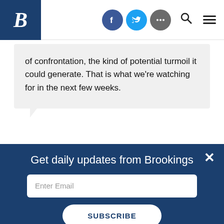Brookings Institution navigation bar with logo, social icons (Facebook, Twitter, More), search and menu icons
of confrontation, the kind of potential turmoil it could generate. That is what we're watching for in the next few weeks.
Madiha Afzal · NPR · Thursday, August 25, 2022
Get daily updates from Brookings
Enter Email
SUBSCRIBE